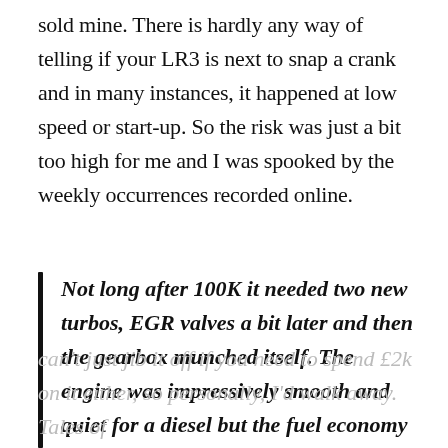sold mine. There is hardly any way of telling if your LR3 is next to snap a crank and in many instances, it happened at low speed or start-up. So the risk was just a bit too high for me and I was spooked by the weekly occurrences recorded online.
Not long after 100K it needed two new turbos, EGR valves a bit later and then the gearbox munched itself. The engine was impressively smooth and quiet for a diesel but the fuel economy was barely any better than the petrol. At £7k you can't just jib it off if you need to spend £2k on it either, so personally, I'd walk away. Tales of